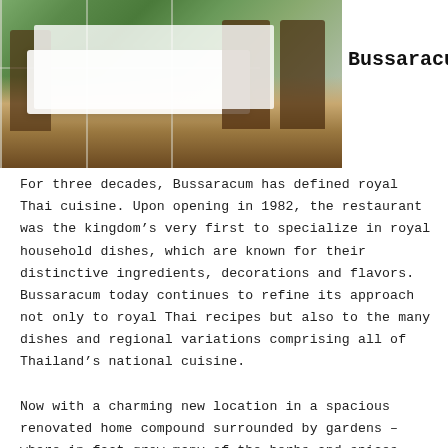[Figure (photo): Interior of Bussaracum restaurant showing elegantly set dining table with white tablecloth, dark wooden chairs with orange cushions, and large windows overlooking lush greenery and gardens.]
Bussaracum
For three decades, Bussaracum has defined royal Thai cuisine. Upon opening in 1982, the restaurant was the kingdom’s very first to specialize in royal household dishes, which are known for their distinctive ingredients, decorations and flavors. Bussaracum today continues to refine its approach not only to royal Thai recipes but also to the many dishes and regional variations comprising all of Thailand’s national cuisine.
Now with a charming new location in a spacious renovated home compound surrounded by gardens – where in fact grow many of the herbs and spices used by the restaurant’s skilled